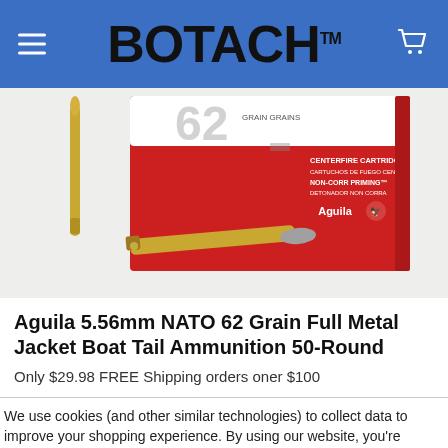BOTACH™
[Figure (photo): Aguila 5.56mm NATO ammunition box with two bullets displayed in front, on a light background. Box is red and white with Aguila branding and text: CENTERFIRE CARTRIDGES, CARTUCHOS DE FUEGO CENTRAL, NON-CORR PRIMING, DETONADOR NON CORRA. Shows 62 grain label.]
Aguila 5.56mm NATO 62 Grain Full Metal Jacket Boat Tail Ammunition 50-Round
Only $29.98 FREE Shipping orders oner $100
We use cookies (and other similar technologies) to collect data to improve your shopping experience. By using our website, you're agreeing to the collection of data as described in our Privacy Policy.
Settings   Reject all   Accept All Cookies